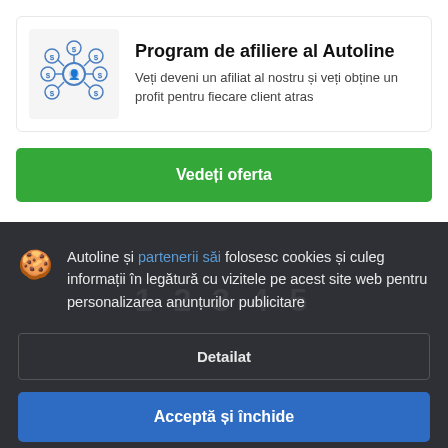Program de afiliere al Autoline
Veți deveni un afiliat al nostru și veți obține un profit pentru fiecare client atras
Vedeți oferta
Autoline și partenerii săi folosesc cookies și culeg informații în legătură cu vizitele pe acest site web pentru personalizarea anunțurilor publicitare
Detailat
Acceptă și închide